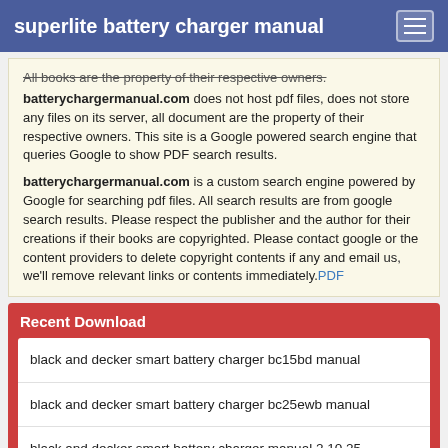superlite battery charger manual
All books are the property of their respective owners. batterychargermanual.com does not host pdf files, does not store any files on its server, all document are the property of their respective owners. This site is a Google powered search engine that queries Google to show PDF search results.
batterychargermanual.com is a custom search engine powered by Google for searching pdf files. All search results are from google search results. Please respect the publisher and the author for their creations if their books are copyrighted. Please contact google or the content providers to delete copyright contents if any and email us, we'll remove relevant links or contents immediately.PDF
Recent Download
black and decker smart battery charger bc15bd manual
black and decker smart battery charger bc25ewb manual
black and decker smart battery charger manual 2 10 25
black and decker smart battery charger manual 2/10/15